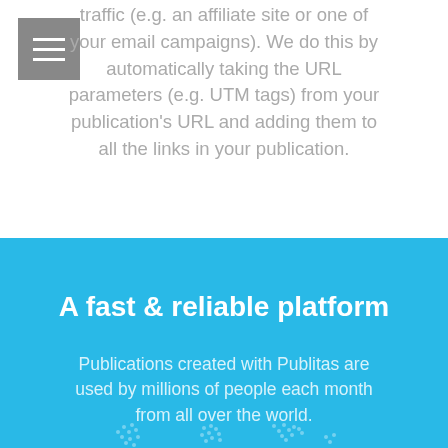traffic (e.g. an affiliate site or one of your email campaigns). We do this by automatically taking the URL parameters (e.g. UTM tags) from your publication's URL and adding them to all the links in your publication.
A fast & reliable platform
Publications created with Publitas are used by millions of people each month from all over the world.
[Figure (illustration): Partial world map illustration in light blue/white dots on blue background]